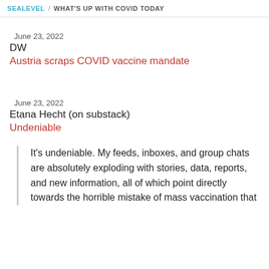SEALEVEL / WHAT'S UP WITH COVID TODAY
June 23, 2022
DW
Austria scraps COVID vaccine mandate
June 23, 2022
Etana Hecht (on substack)
Undeniable
It's undeniable. My feeds, inboxes, and group chats are absolutely exploding with stories, data, reports, and new information, all of which point directly towards the horrible mistake of mass vaccination that